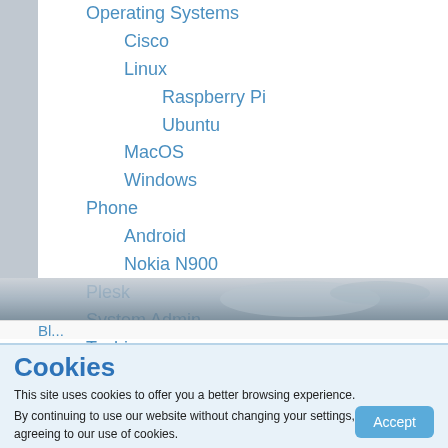Operating Systems
Cisco
Linux
Raspberry Pi
Ubuntu
MacOS
Windows
Phone
Android
Nokia N900
Plesk
System Admin
Techie
[Figure (photo): Decorative banner image, partially visible, appears to be a technology/currency themed photo]
Bl...
Cookies
This site uses cookies to offer you a better browsing experience.
By continuing to use our website without changing your settings, you are agreeing to our use of cookies.
Accept